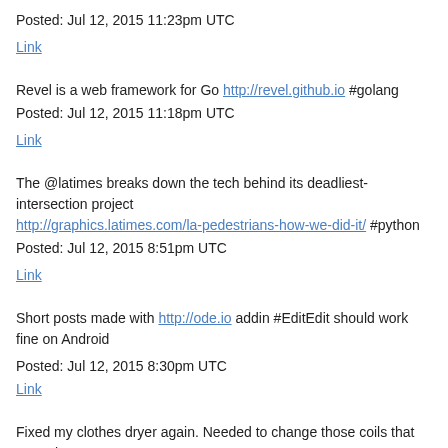Posted: Jul 12, 2015 11:23pm UTC
Link
Revel is a web framework for Go http://revel.github.io #golang
Posted: Jul 12, 2015 11:18pm UTC
Link
The @latimes breaks down the tech behind its deadliest-intersection project http://graphics.latimes.com/la-pedestrians-how-we-did-it/ #python
Posted: Jul 12, 2015 8:51pm UTC
Link
Short posts made with http://ode.io addin #EditEdit should work fine on Android
Posted: Jul 12, 2015 8:30pm UTC
Link
Fixed my clothes dryer again. Needed to change those coils that open the